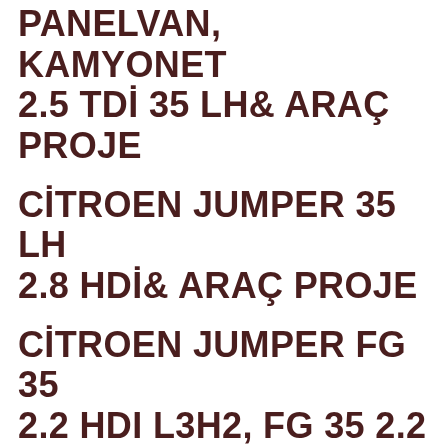PANELVAN, KAMYONET 2.5 TDİ 35 LH& ARAÇ PROJE
CİTROEN JUMPER 35 LH 2.8 HDİ& ARAÇ PROJE
CİTROEN JUMPER FG 35 2.2 HDI L3H2, FG 35 2.2 HDI L4H2& ARAÇ PROJE
MERCEDES VİTO PANELVAN 109, 111, 115 CDI